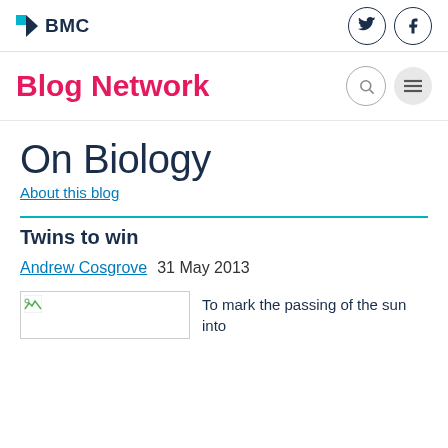BMC
Blog Network
On Biology
About this blog
Twins to win
Andrew Cosgrove   31 May 2013
To mark the passing of the sun into